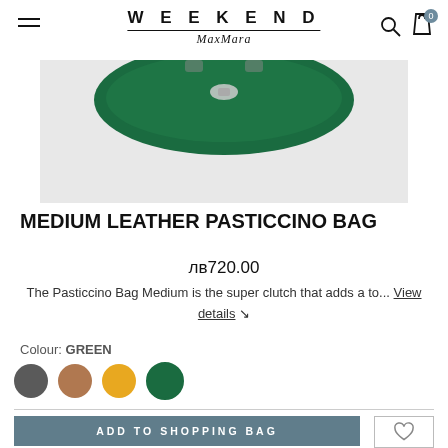WEEKEND MaxMara
[Figure (photo): Partial view of a green leather handbag (Pasticcino Bag) on a light grey background]
MEDIUM LEATHER PASTICCINO BAG
лв720.00
The Pasticcino Bag Medium is the super clutch that adds a to... View details ↘
Colour: GREEN
ADD TO SHOPPING BAG